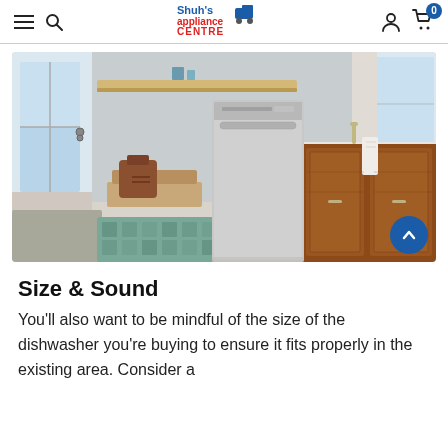Shuh's Appliance Centre
[Figure (photo): A stainless steel dishwasher installed in a modern kitchen with brown wood cabinetry, a floating shelf, a teal patterned rug on the floor, and a backpack visible in the background.]
Size & Sound
You'll also want to be mindful of the size of the dishwasher you're buying to ensure it fits properly in the existing area. Consider a